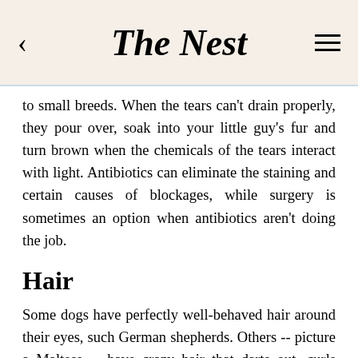The Nest
to small breeds. When the tears can't drain properly, they pour over, soak into your little guy's fur and turn brown when the chemicals of the tears interact with light. Antibiotics can eliminate the staining and certain causes of blockages, while surgery is sometimes an option when antibiotics aren't doing the job.
Hair
Some dogs have perfectly well-behaved hair around their eyes, such German shepherds. Others -- picture a Maltese -- have crazy hair that darts out, curls around and acts as a method of transportation for tears. The rogue hair, or hairs, allow the tears to slide down and onto your pup's fur, producing